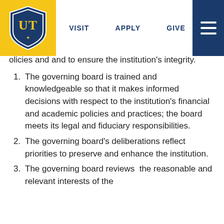VISIT   APPLY   GIVE
policies and and to ensure the institution's integrity.
The governing board is trained and knowledgeable so that it makes informed decisions with respect to the institution's financial and academic policies and practices; the board meets its legal and fiduciary responsibilities.
The governing board's deliberations reflect priorities to preserve and enhance the institution.
The governing board reviews  the reasonable and relevant interests of the